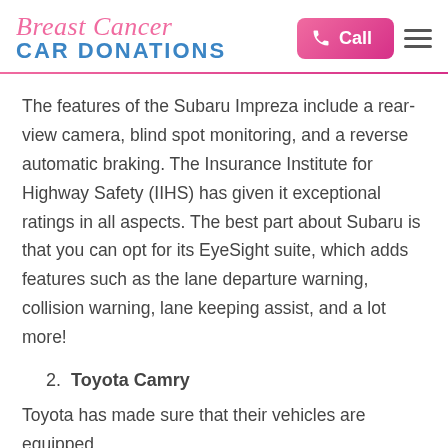Breast Cancer CAR DONATIONS
The features of the Subaru Impreza include a rear-view camera, blind spot monitoring, and a reverse automatic braking. The Insurance Institute for Highway Safety (IIHS) has given it exceptional ratings in all aspects. The best part about Subaru is that you can opt for its EyeSight suite, which adds features such as the lane departure warning, collision warning, lane keeping assist, and a lot more!
2.  Toyota Camry
Toyota has made sure that their vehicles are equipped